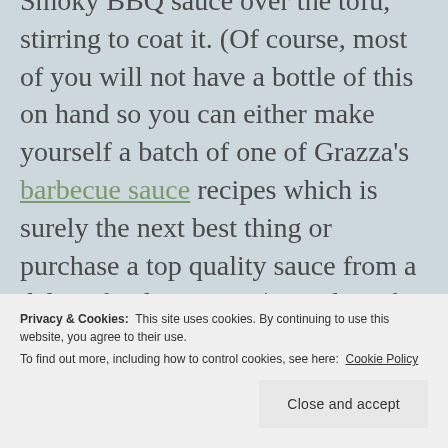Smoky BBQ sauce over the tofu, stirring to coat it. (Of course, most of you will not have a bottle of this on hand so you can either make yourself a batch of one of Grazza's barbecue sauce recipes which is surely the next best thing or purchase a top quality sauce from a deli or food purveyor.) Let the tofu marinate in the fridge for a few hours, overnight would be even
Privacy & Cookies: This site uses cookies. By continuing to use this website, you agree to their use. To find out more, including how to control cookies, see here: Cookie Policy
Close and accept
brown. This can also be grilled on a